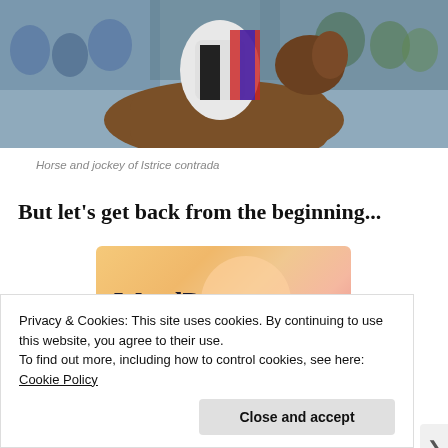[Figure (photo): Horse and jockey of Istrice contrada, with crowd in background]
Horse and jockey of Istrice contrada
But let’s get back from the beginning...
[Figure (infographic): WordPress advertisement banner with text 'WordPress in the back.' on colorful gradient background with circular shapes]
Privacy & Cookies: This site uses cookies. By continuing to use this website, you agree to their use.
To find out more, including how to control cookies, see here: Cookie Policy
Close and accept